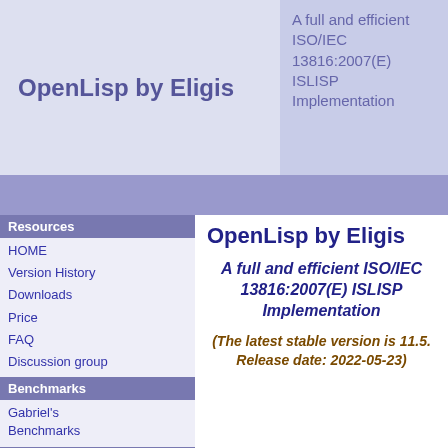OpenLisp by Eligis
A full and efficient ISO/IEC 13816:2007(E) ISLISP Implementation
Resources
HOME
Version History
Downloads
Price
FAQ
Discussion group
Benchmarks
Gabriel's Benchmarks
Documentation
OpenLisp doc
OpenLisp by Eligis
A full and efficient ISO/IEC 13816:2007(E) ISLISP Implementation
(The latest stable version is 11.5. Release date: 2022-05-23)